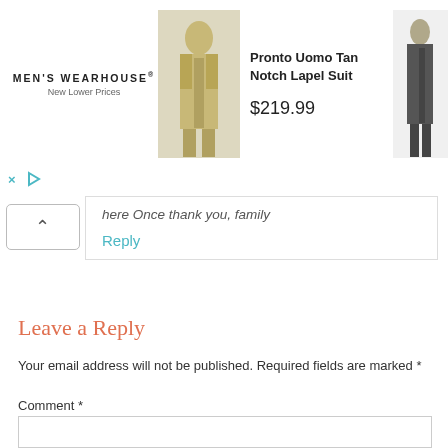[Figure (other): Men's Wearhouse advertisement banner showing a tan suit and a man in dark suit, with logo and tagline 'New Lower Prices', product 'Pronto Uomo Tan Notch Lapel Suit' priced at $219.99]
here Once thank you, family
Reply
Leave a Reply
Your email address will not be published. Required fields are marked *
Comment *